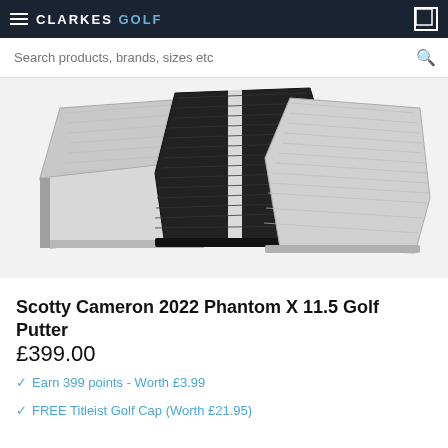CLARKES GOLF
[Figure (photo): Three Scotty Cameron Phantom X 11.5 golf putter heads shown from above — one silver on left, one black in center, one silver on right, with textured ridge pattern on top faces]
Scotty Cameron 2022 Phantom X 11.5 Golf Putter
£399.00
Earn 399 points - Worth £3.99
FREE Titleist Golf Cap (Worth £21.95)